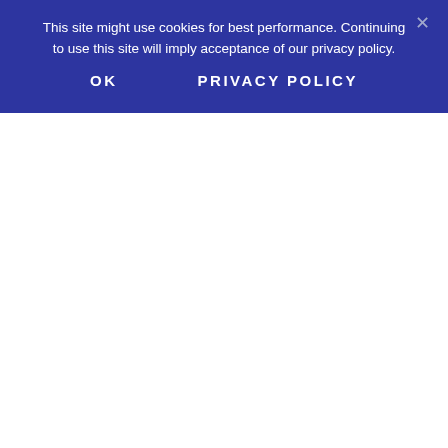This site might use cookies for best performance. Continuing to use this site will imply acceptance of our privacy policy.
OK
PRIVACY POLICY
support of the surgical defects once the neurological compression has been resolved.
Unfortunately, there are simply few, if any, other therapy options for patients in these dire circumstances, which is a terrible shame, since some patients have suffered unstable spinals simply due to previous fusion or corpectomy operations and now must undergo additional procedures of the same incredibly risky variety.